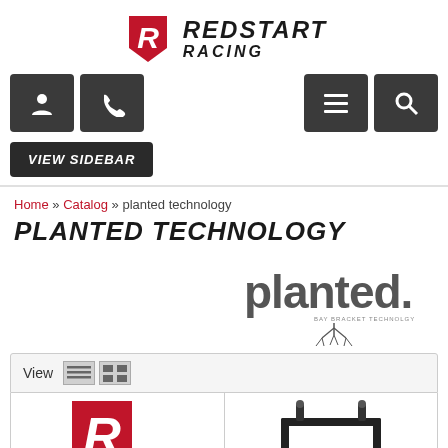[Figure (logo): Redstart Racing logo with stylized R emblem and bold italic text]
[Figure (screenshot): Navigation icon buttons: user/account icon, phone icon, menu/hamburger icon, search icon]
VIEW SIDEBAR
Home » Catalog » planted technology
PLANTED TECHNOLOGY
[Figure (logo): Planted Technology brand logo with stylized text 'planted.' and root graphic]
View
[Figure (screenshot): Product grid showing two product cells: left cell has red Redstart Racing R logo, right cell has black metal seat bracket/rail]
List and grid view toggle icons